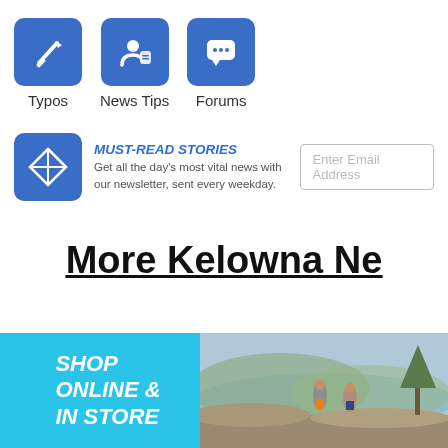[Figure (screenshot): Three icon buttons: Typos (pencil icon), News Tips (person with phone icon), Forums (chat bubble icon), all with blue rounded square backgrounds]
[Figure (infographic): Newsletter signup bar with blue kite/origami logo, 'MUST-READ STORIES' heading, description text, and email input field]
More Kelowna Ne
[Figure (photo): Advertisement banner: left cyan panel reading 'SHOP ONLINE & IN STORE' in bold italic white, right panel showing two people running on a rocky overlook above a lake]